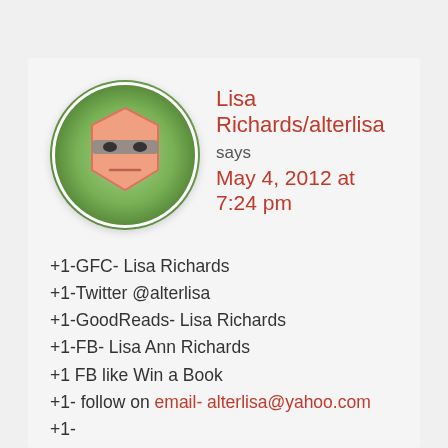[Figure (illustration): Round avatar icon showing a cartoon face with sunglasses on a green circular background]
Lisa Richards/alterlisa says May 4, 2012 at 7:24 pm
+1-GFC- Lisa Richards
+1-Twitter @alterlisa
+1-GoodReads- Lisa Richards
+1-FB- Lisa Ann Richards
+1 FB like Win a Book
+1- follow on email- alterlisa@yahoo.com
+1-